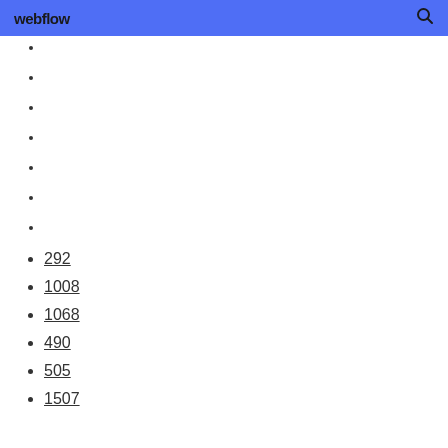webflow
292
1008
1068
490
505
1507